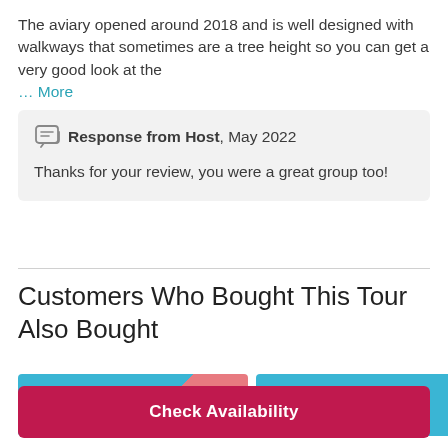The aviary opened around 2018 and is well designed with walkways that sometimes are a tree height so you can get a very good look at the … More
Response from Host, May 2022
Thanks for your review, you were a great group too!
Customers Who Bought This Tour Also Bought
[Figure (photo): Two thumbnail images of tour products]
Check Availability